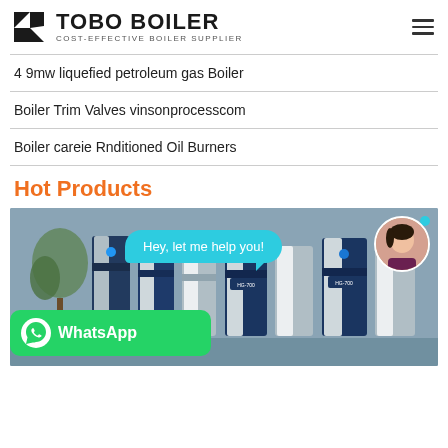TOBO BOILER — COST-EFFECTIVE BOILER SUPPLIER
4 9mw liquefied petroleum gas Boiler
Boiler Trim Valves vinsonprocesscom
Boiler careie Rnditioned Oil Burners
Hot Products
[Figure (photo): Industrial boilers (blue and white vertical units) displayed in a row with a chat assistant bubble saying 'Hey, let me help you!' and a WhatsApp button overlay.]